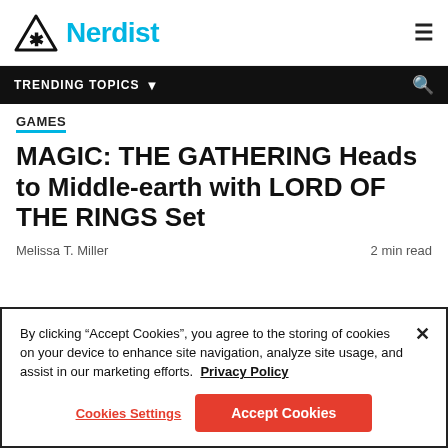Nerdist
TRENDING TOPICS
GAMES
MAGIC: THE GATHERING Heads to Middle-earth with LORD OF THE RINGS Set
Melissa T. Miller   2 min read
By clicking “Accept Cookies”, you agree to the storing of cookies on your device to enhance site navigation, analyze site usage, and assist in our marketing efforts.  Privacy Policy
Cookies Settings   Accept Cookies